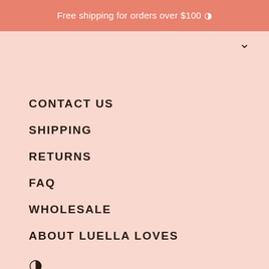Free shipping for orders over $100 ◑
CONTACT US
SHIPPING
RETURNS
FAQ
WHOLESALE
ABOUT LUELLA LOVES
◑